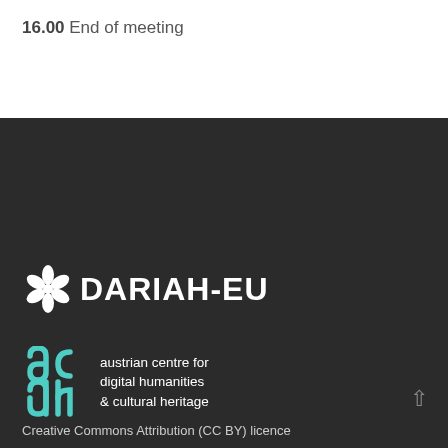16.00 End of meeting
[Figure (logo): DARIAH-EU logo with flower icon and text DARIAH-EU in white on dark background]
[Figure (logo): Austrian Centre for Digital Humanities & Cultural Heritage (ACDH) logo with teal/cyan letter marks and white text on dark background]
[Figure (logo): European Union flag logo — blue rectangle with circle of gold stars]
Creative Commons Attribution (CC BY) licence